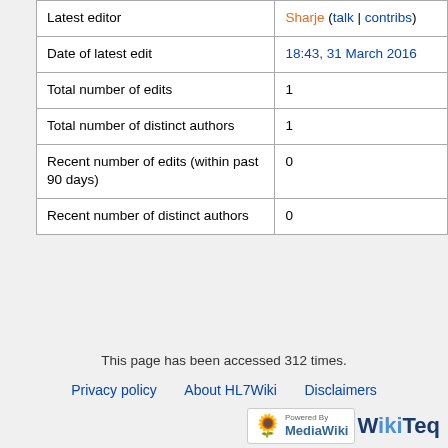|  |  |
| --- | --- |
| Latest editor | Sharje (talk | contribs) |
| Date of latest edit | 18:43, 31 March 2016 |
| Total number of edits | 1 |
| Total number of distinct authors | 1 |
| Recent number of edits (within past 90 days) | 0 |
| Recent number of distinct authors | 0 |
This page has been accessed 312 times.
Privacy policy   About HL7Wiki   Disclaimers